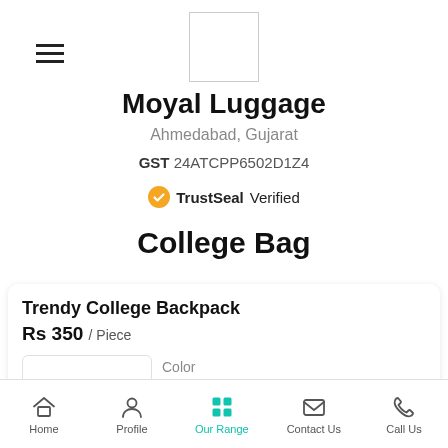[Figure (logo): Company logo placeholder box (white rectangle with border)]
Moyal Luggage
Ahmedabad, Gujarat
GST 24ATCPP6502D1Z4
TrustSeal Verified
College Bag
Trendy College Backpack
Rs 350 / Piece
Color
Red
Home  Profile  Our Range  Contact Us  Call Us